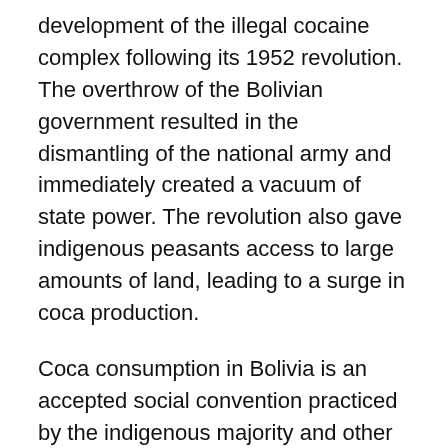development of the illegal cocaine complex following its 1952 revolution. The overthrow of the Bolivian government resulted in the dismantling of the national army and immediately created a vacuum of state power. The revolution also gave indigenous peasants access to large amounts of land, leading to a surge in coca production.
Coca consumption in Bolivia is an accepted social convention practiced by the indigenous majority and other segments of Bolivian society. With the criminalization of the cocaine industry in Peru, Bolivia stepped in after 1952 to nurture this illegal enterprise.
At the same time, Cuba became perhaps the